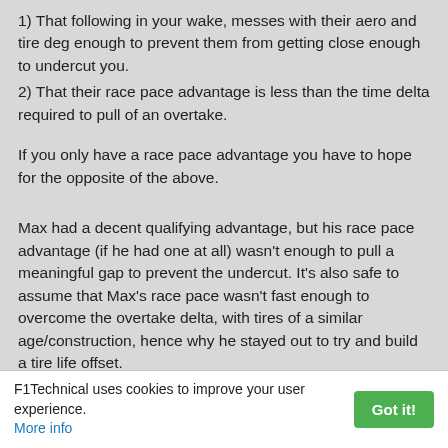1) That following in your wake, messes with their aero and tire deg enough to prevent them from getting close enough to undercut you.
2) That their race pace advantage is less than the time delta required to pull of an overtake.
If you only have a race pace advantage you have to hope for the opposite of the above.
Max had a decent qualifying advantage, but his race pace advantage (if he had one at all) wasn't enough to pull a meaningful gap to prevent the undercut. It's also safe to assume that Max's race pace wasn't fast enough to overcome the overtake delta, with tires of a similar age/construction, hence why he stayed out to try and build a tire life offset.
F1Technical uses cookies to improve your user experience. More info  [Got it!]